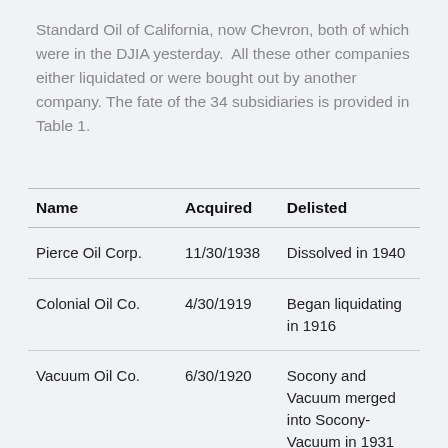Standard Oil of California, now Chevron, both of which were in the DJIA yesterday.  All these other companies either liquidated or were bought out by another company. The fate of the 34 subsidiaries is provided in Table 1.
| Name | Acquired | Delisted |
| --- | --- | --- |
| Pierce Oil Corp. | 11/30/1938 | Dissolved in 1940 |
| Colonial Oil Co. | 4/30/1919 | Began liquidating in 1916 |
| Vacuum Oil Co. | 6/30/1920 | Socony and Vacuum merged into Socony-Vacuum in 1931 |